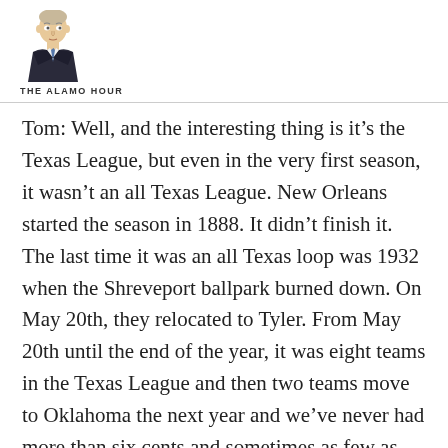THE ALAMO HOUR
Tom: Well, and the interesting thing is it's the Texas League, but even in the very first season, it wasn't an all Texas League. New Orleans started the season in 1888. It didn't finish it. The last time it was an all Texas loop was 1932 when the Shreveport ballpark burned down. On May 20th, they relocated to Tyler. From May 20th until the end of the year, it was eight teams in the Texas League and then two teams move to Oklahoma the next year and we've never had more than six cents and sometimes as few as three.